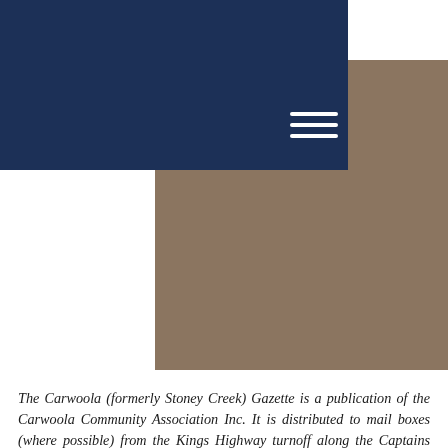Carwoola Community Association
[Figure (other): Tan/brown rectangular banner image area below the header]
The Carwoola (formerly Stoney Creek) Gazette is a publication of the Carwoola Community Association Inc. It is distributed to mail boxes (where possible) from the Kings Highway turnoff along the Captains Flat Road and in Wanna Wanna, Green Acres (Powell Drive), Clydesdale, Stony Creek, Radcliffe, Molonglo River Park, Widgiewa, “Carwoola,” “Woolcara,”